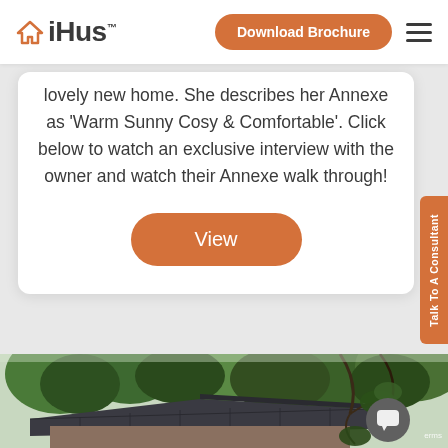iHus™ | Download Brochure
lovely new home. She describes her Annexe as 'Warm Sunny Cosy & Comfortable'. Click below to watch an exclusive interview with the owner and watch their Annexe walk through!
View
Talk To A Consultant
[Figure (photo): Exterior photo of an annexe building with a dark roof, surrounded by trees and green foliage]